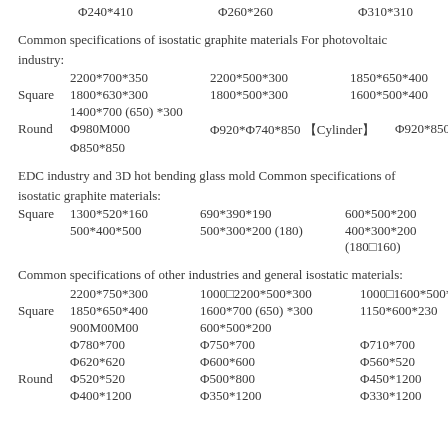Φ240*410    Φ260*260    Φ310*310
Common specifications of isostatic graphite materials For photovoltaic industry:
Square: 2200*700*350  2200*500*300  1850*650*400  1800*630*300  1800*500*300  1600*500*400  1400*700 (650) *300
Round: Φ980M000  Φ920*Φ740*850 【Cylinder】 Φ920*850  Φ850*850
EDC industry and 3D hot bending glass mold Common specifications of isostatic graphite materials:
Square: 1300*520*160  690*390*190  600*500*200  500*400*500  500*300*200 (180)  400*300*200 (180□160)
Common specifications of other industries and general isostatic materials:
Square: 2200*750*300  1000□2200*500*300  1000□1600*500*400  1850*650*400  1600*700 (650) *300  1150*600*230  900M00M00  600*500*200
Round: Φ780*700  Φ750*700  Φ710*700  Φ620*620  Φ600*600  Φ560*520  Φ520*520  Φ500*800  Φ450*1200  Φ400*1200  Φ350*1200  Φ330*1200